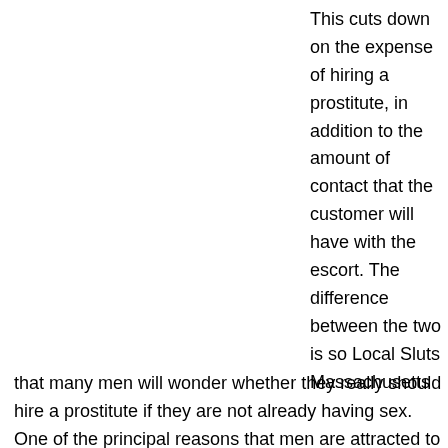This cuts down on the expense of hiring a prostitute, in addition to the amount of contact that the customer will have with the escort. The difference between the two is so Local Sluts Massachusetts that many men will wonder whether they really should hire a prostitute if they are not already having sex. One of the principal reasons that men are attracted to prostitutes and escorts is a